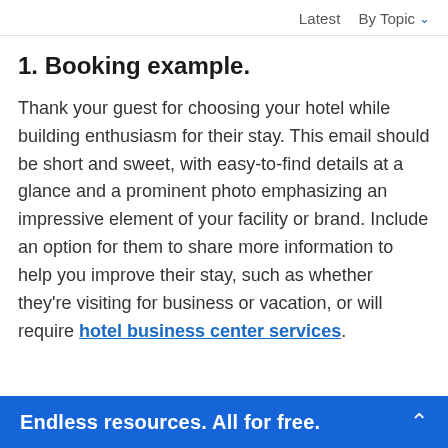Latest   By Topic ∨
1. Booking example.
Thank your guest for choosing your hotel while building enthusiasm for their stay. This email should be short and sweet, with easy-to-find details at a glance and a prominent photo emphasizing an impressive element of your facility or brand. Include an option for them to share more information to help you improve their stay, such as whether they're visiting for business or vacation, or will require hotel business center services.
Endless resources. All for free.